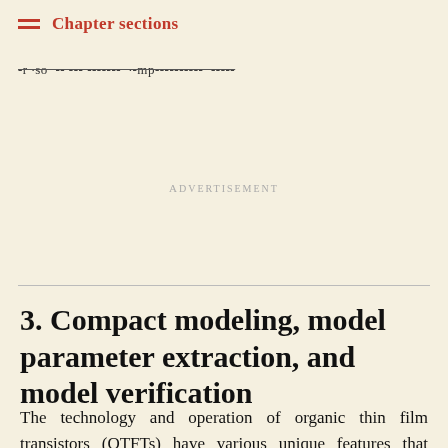Chapter sections
-r ·so -- --- ------- -- ·-mp---------- -----
Advertisement
3. Compact modeling, model parameter extraction, and model verification
The technology and operation of organic thin film transistors (OTFTs) have various unique features that require a dedicated compact TFT model. The